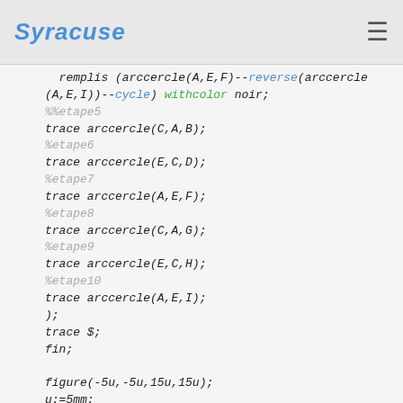Syracuse
remplis (arccercle(A,E,F)--reverse(arccercle
(A,E,I))--cycle) withcolor noir;
%%etape5
trace arccercle(C,A,B);
%etape6
trace arccercle(E,C,D);
%etape7
trace arccercle(A,E,F);
%etape8
trace arccercle(C,A,G);
%etape9
trace arccercle(E,C,H);
%etape10
trace arccercle(A,E,I);
);
trace $;
fin;

figure(-5u,-5u,15u,15u);
u:=5mm;
pair O,A,B,C,D,E,centre[];
path cc[],rayon[];